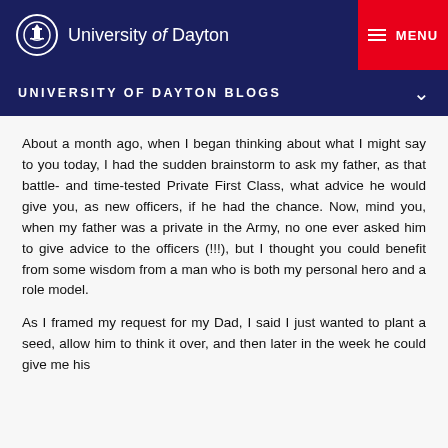University of Dayton
UNIVERSITY OF DAYTON BLOGS
About a month ago, when I began thinking about what I might say to you today, I had the sudden brainstorm to ask my father, as that battle- and time-tested Private First Class, what advice he would give you, as new officers, if he had the chance. Now, mind you, when my father was a private in the Army, no one ever asked him to give advice to the officers (!!!), but I thought you could benefit from some wisdom from a man who is both my personal hero and a role model.
As I framed my request for my Dad, I said I just wanted to plant a seed, allow him to think it over, and then later in the week he could give me his